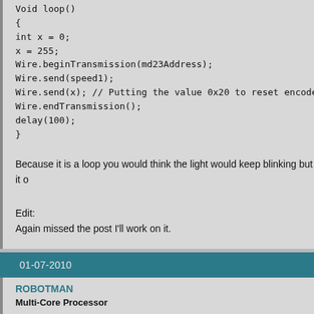Void loop()
{
int x = 0;
x = 255;
Wire.beginTransmission(md23Address);
Wire.send(speed1);
Wire.send(x); // Putting the value 0x20 to reset encoders
Wire.endTransmission();
delay(100);
}
Because it is a loop you would think the light would keep blinking but it o
Edit:
Again missed the post I'll work on it.
Dalton Caughell
01-07-2010
ROBOTMAN
Multi-Core Processor